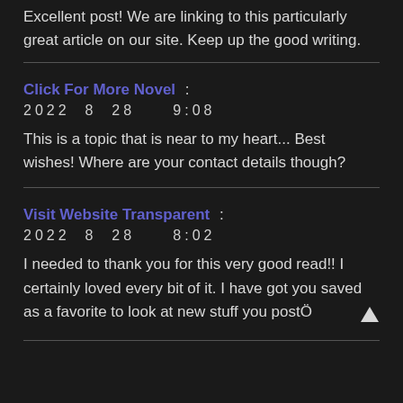Excellent post! We are linking to this particularly great article on our site. Keep up the good writing.
Click For More Novel  :  2022  8  28  9:08  This is a topic that is near to my heart... Best wishes! Where are your contact details though?
Visit Website Transparent  :  2022  8  28  8:02  I needed to thank you for this very good read!! I certainly loved every bit of it. I have got you saved as a favorite to look at new stuff you postÖ